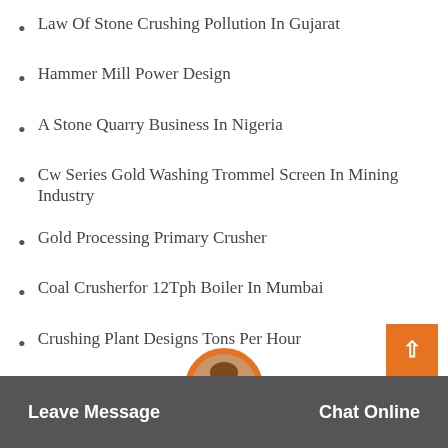Law Of Stone Crushing Pollution In Gujarat
Hammer Mill Power Design
A Stone Quarry Business In Nigeria
Cw Series Gold Washing Trommel Screen In Mining Industry
Gold Processing Primary Crusher
Coal Crusherfor 12Tph Boiler In Mumbai
Crushing Plant Designs Tons Per Hour
Limestone Rotary Industrial Dryers
Crushing Plant Quotation